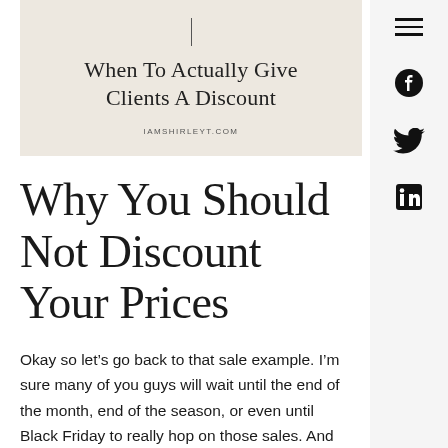[Figure (illustration): Blog post hero banner with beige/cream background, a vertical line at top, title 'When To Actually Give Clients A Discount', and URL 'IAMSHIRLEYT.COM']
Why You Should Not Discount Your Prices
Okay so let's go back to that sale example. I'm sure many of you guys will wait until the end of the month, end of the season, or even until Black Friday to really hop on those sales. And this is the exact reason why you